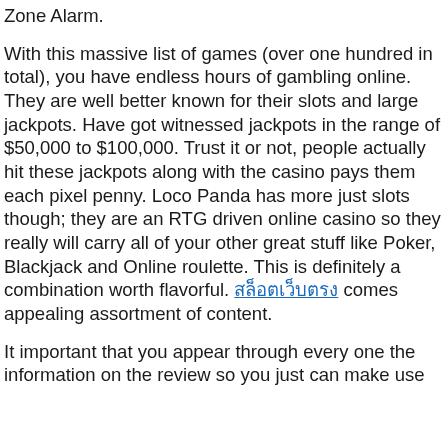Zone Alarm.
With this massive list of games (over one hundred in total), you have endless hours of gambling online. They are well better known for their slots and large jackpots. Have got witnessed jackpots in the range of $50,000 to $100,000. Trust it or not, people actually hit these jackpots along with the casino pays them each pixel penny. Loco Panda has more just slots though; they are an RTG driven online casino so they really will carry all of your other great stuff like Poker, Blackjack and Online roulette. This is definitely a combination worth flavorful. สล็อตเว็บตรง comes appealing assortment of content.
It important that you appear through every one the information on the review so you just can make use